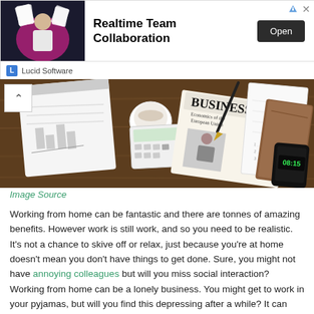[Figure (screenshot): Advertisement banner for Lucid Software featuring 'Realtime Team Collaboration' text, an Open button, and a Lucid Software logo footer. Ad image shows a person with documents against a dark/pink background.]
[Figure (photo): Overhead photo of a wooden desk with notepad, coffee cup, calculator, newspaper with 'BUSINESS' headline, pen, spiral notebook, brown journal/book, and a smartphone showing 08:15.]
Image Source
Working from home can be fantastic and there are tonnes of amazing benefits. However work is still work, and so you need to be realistic. It's not a chance to skive off or relax, just because you're at home doesn't mean you don't have things to get done. Sure, you might not have annoying colleagues but will you miss social interaction? Working from home can be a lonely business. You might get to work in your pyjamas, but will you find this depressing after a while? It can make sense to have clothes that